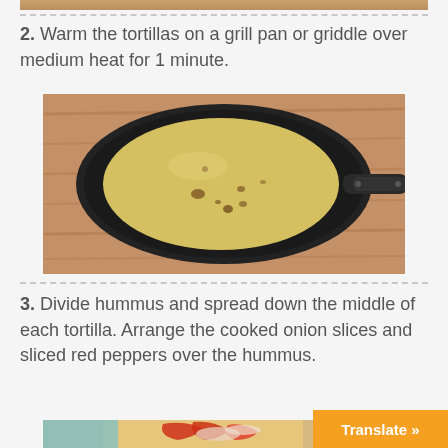[Figure (photo): Partial top strip of a food/recipe image]
2. Warm the tortillas on a grill pan or griddle over medium heat for 1 minute.
[Figure (photo): Overhead view of a yellow tortilla in a black nonstick skillet/grill pan on a wooden surface]
3. Divide hummus and spread down the middle of each tortilla. Arrange the cooked onion slices and sliced red peppers over the hummus.
[Figure (photo): Close-up of a tortilla topped with sliced red peppers and onions]
Translate »